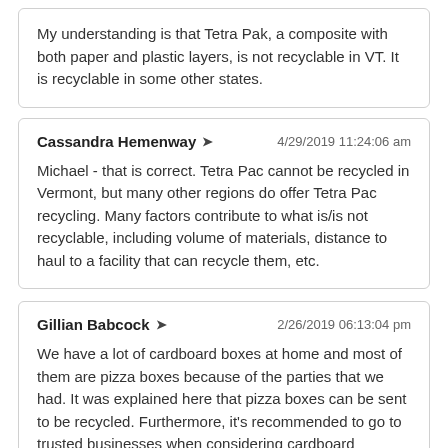My understanding is that Tetra Pak, a composite with both paper and plastic layers, is not recyclable in VT. It is recyclable in some other states.
Cassandra Hemenway ➜  4/29/2019 11:24:06 am
Michael - that is correct. Tetra Pac cannot be recycled in Vermont, but many other regions do offer Tetra Pac recycling. Many factors contribute to what is/is not recyclable, including volume of materials, distance to haul to a facility that can recycle them, etc.
Gillian Babcock ➜  2/26/2019 06:13:04 pm
We have a lot of cardboard boxes at home and most of them are pizza boxes because of the parties that we had. It was explained here that pizza boxes can be sent to be recycled. Furthermore, it's recommended to go to trusted businesses when considering cardboard recycling.